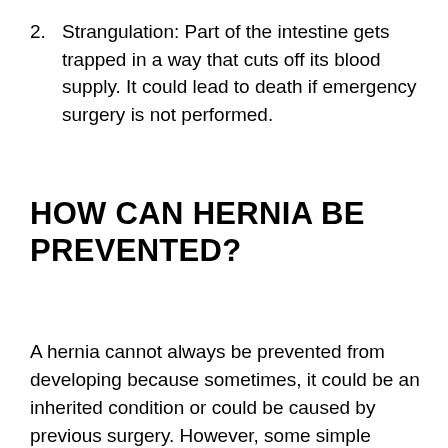2. Strangulation: Part of the intestine gets trapped in a way that cuts off its blood supply. It could lead to death if emergency surgery is not performed.
HOW CAN HERNIA BE PREVENTED?
A hernia cannot always be prevented from developing because sometimes, it could be an inherited condition or could be caused by previous surgery. However, some simple lifestyle adjustments could help reduce the level of stress and strain placed on your body parts thereby reducing the risk of getting hernia.